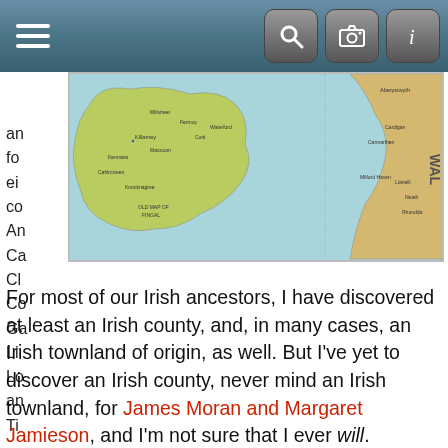Navigation bar with hamburger menu and search/camera/info icons
[Figure (map): Map showing Ireland on the left (green landmass with place names including Killarney, Kenmare, Cahirciveen, Knocknagree, Millstreet, Fermoy, Cork, Waterford, and 'OLD MAP OF FINGAL') and the coast of Wales on the right (showing Carmarthen, Cardigan, Milford Haven, Neath, Rhondda, and partial text 'WAL'). Surrounding sea shown in teal/blue.]
an
fo
ei
co
An
Ca
Cl
Co
Ga
Li
Lo
an
Ti
For most of our Irish ancestors, I have discovered at least an Irish county, and, in many cases, an Irish townland of origin, as well. But I've yet to discover an Irish county, never mind an Irish townland, for James Moran and Margaret Jamieson, and I'm not sure that I ever will.